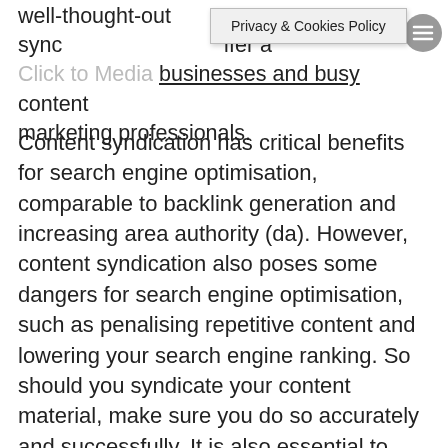well-thought-out sync offer a variety of benefits to businesses and busy content marketing professionals.
Privacy & Cookies Policy
Content syndication has critical benefits for search engine optimisation, comparable to backlink generation and increasing area authority (da). However, content syndication also poses some dangers for search engine optimisation, such as penalising repetitive content and lowering your search engine ranking. So should you syndicate your content material, make sure you do so accurately and successfully. It is also essential to create high-quality content material before you start syndicating content material. For this, you can use content material creation tools such as Articolo. This tool helps you create high-quality content material without much effort.